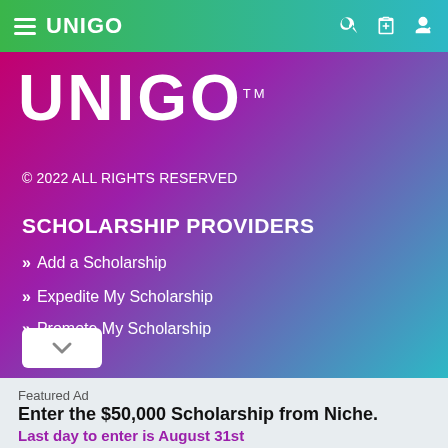UNIGO — navigation bar with hamburger menu, logo, search, clipboard, and user icons
[Figure (logo): Unigo logo in large white bold text on gradient purple-to-teal background with TM superscript]
© 2022 ALL RIGHTS RESERVED
SCHOLARSHIP PROVIDERS
» Add a Scholarship
» Expedite My Scholarship
» Promote My Scholarship
Featured Ad
Enter the $50,000 Scholarship from Niche.
Last day to enter is August 31st
APPLY NOW!